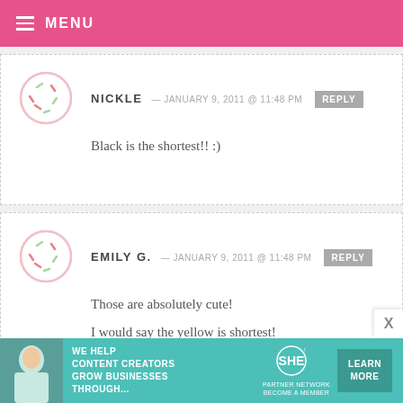MENU
NICKLE — JANUARY 9, 2011 @ 11:48 PM  REPLY
Black is the shortest!! :)
EMILY G. — JANUARY 9, 2011 @ 11:48 PM  REPLY
Those are absolutely cute!
I would say the yellow is shortest!
*fingers crosser!*
[Figure (infographic): SHE Partner Network advertisement banner: We help content creators grow businesses through...]